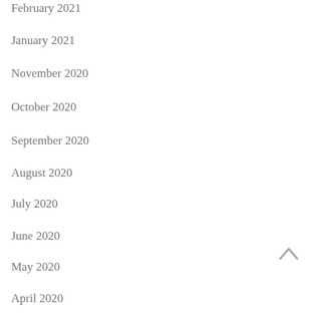February 2021
January 2021
November 2020
October 2020
September 2020
August 2020
July 2020
June 2020
May 2020
April 2020